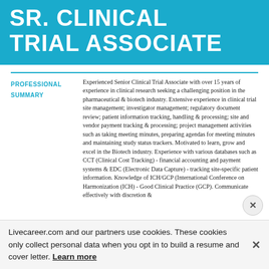SR. CLINICAL TRIAL ASSOCIATE
PROFESSIONAL SUMMARY
Experienced Senior Clinical Trial Associate with over 15 years of experience in clinical research seeking a challenging position in the pharmaceutical & biotech industry. Extensive experience in clinical trial site management; investigator management; regulatory document review; patient information tracking, handling & processing; site and vendor payment tracking & processing; project management activities such as taking meeting minutes, preparing agendas for meeting minutes and maintaining study status trackers. Motivated to learn, grow and excel in the Biotech industry. Experience with various databases such as CCT (Clinical Cost Tracking) - financial accounting and payment systems & EDC (Electronic Data Capture) - tracking site-specific patient information. Knowledge of ICH/GCP (International Conference on Harmonization (ICH) - Good Clinical Practice (GCP). Communicate effectively with discretion &
Livecareer.com and our partners use cookies. These cookies only collect personal data when you opt in to build a resume and cover letter. Learn more